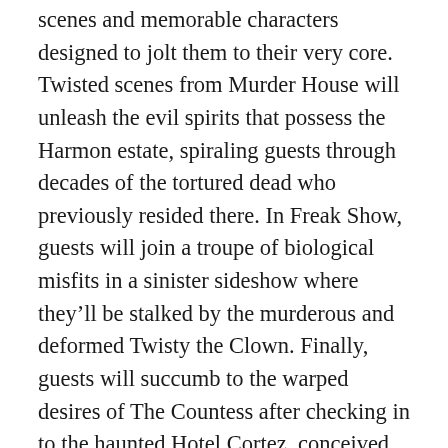scenes and memorable characters designed to jolt them to their very core. Twisted scenes from Murder House will unleash the evil spirits that possess the Harmon estate, spiraling guests through decades of the tortured dead who previously resided there. In Freak Show, guests will join a troupe of biological misfits in a sinister sideshow where they'll be stalked by the murderous and deformed Twisty the Clown. Finally, guests will succumb to the warped desires of The Countess after checking in to the haunted Hotel Cortez, conceived from the beginning as a torture chamber for its customers.
"'American Horror Story' is one of the most disturbing television shows ever produced, and with such perverse storylines unfolding with each installment, 'Halloween Horror Nights' is